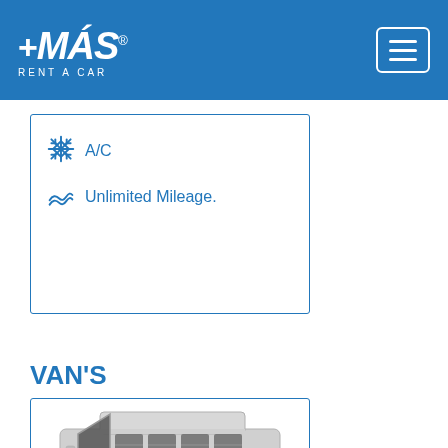+MÁS RENT A CAR
A/C
Unlimited Mileage.
VAN'S
[Figure (photo): Silver Toyota HiAce van (high-roof minibus) photographed from a front three-quarter angle on a white background, inside a bordered card.]